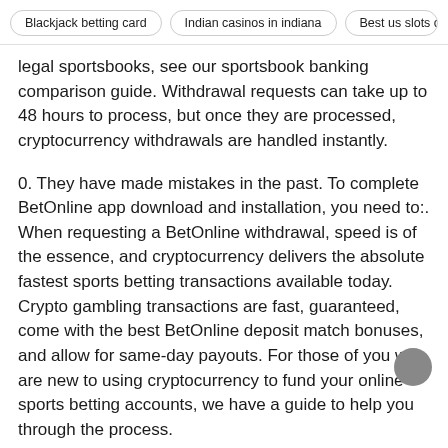Blackjack betting card | Indian casinos in indiana | Best us slots on...
legal sportsbooks, see our sportsbook banking comparison guide. Withdrawal requests can take up to 48 hours to process, but once they are processed, cryptocurrency withdrawals are handled instantly.
0. They have made mistakes in the past. To complete BetOnline app download and installation, you need to:. When requesting a BetOnline withdrawal, speed is of the essence, and cryptocurrency delivers the absolute fastest sports betting transactions available today. Crypto gambling transactions are fast, guaranteed, come with the best BetOnline deposit match bonuses, and allow for same-day payouts. For those of you who are new to using cryptocurrency to fund your online sports betting accounts, we have a guide to help you through the process.
If you have problems installing the BetOnline mobile poker